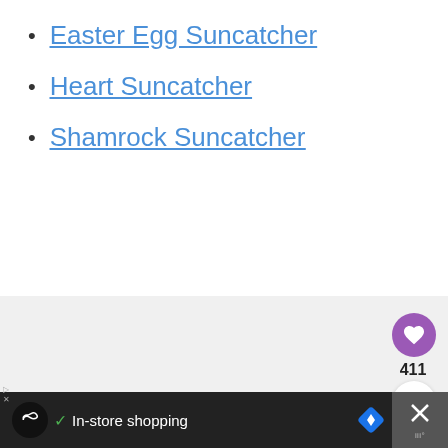Easter Egg Suncatcher
Heart Suncatcher
Shamrock Suncatcher
[Figure (screenshot): Gray content area with social action buttons: a purple heart button, a count of 411, and a share button on the right side. A 'What's Next' card shows a thumbnail and text 'Bunny Tissue Paper...' with a label 'WHAT'S NEXT →'.]
[Figure (screenshot): Bottom ad bar on black background showing an ad icon, checkmark, 'In-store shopping' text, a blue diamond navigation icon, and a close/X button area.]